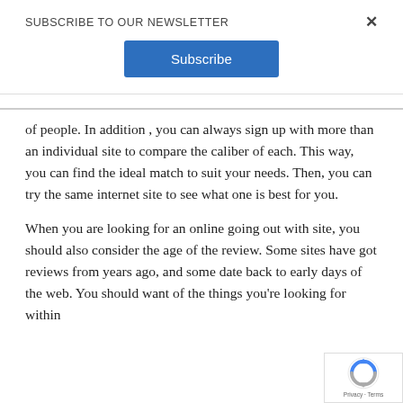SUBSCRIBE TO OUR NEWSLETTER
[Figure (other): Blue Subscribe button]
of people. In addition , you can always sign up with more than an individual site to compare the caliber of each. This way, you can find the ideal match to suit your needs. Then, you can try the same internet site to see what one is best for you.
When you are looking for an online going out with site, you should also consider the age of the review. Some sites have got reviews from years ago, and some date back to early days of the web. You should want of the things you're looking for within
[Figure (logo): reCAPTCHA badge with spinning arrows logo and Privacy · Terms text]